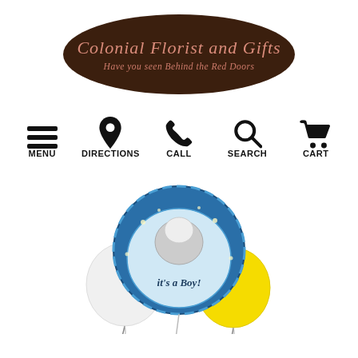[Figure (logo): Colonial Florist and Gifts logo — dark brown oval with italic pink text reading 'Colonial Florist and Gifts' and subtitle 'Have you seen Behind the Red Doors']
[Figure (infographic): Navigation bar with five icons and labels: MENU (hamburger), DIRECTIONS (map pin), CALL (phone), SEARCH (magnifier), CART (shopping cart)]
[Figure (photo): Photo of an 'It's a Boy!' balloon bouquet featuring a large round blue foil balloon with a stork graphic saying 'it's a Boy!', flanked by a white balloon and a yellow balloon, strings visible at bottom]